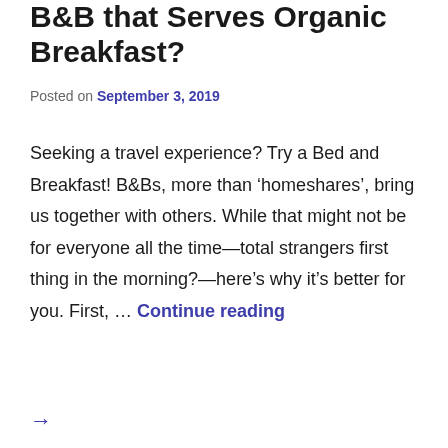B&B that Serves Organic Breakfast?
Posted on September 3, 2019
Seeking a travel experience? Try a Bed and Breakfast! B&Bs, more than ‘homeshares’, bring us together with others. While that might not be for everyone all the time—total strangers first thing in the morning?—here’s why it’s better for you. First, … Continue reading →